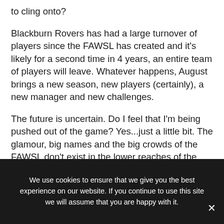to cling onto?
Blackburn Rovers has had a large turnover of players since the FAWSL has created and it's likely for a second time in 4 years, an entire team of players will leave. Whatever happens, August brings a new season, new players (certainly), a new manager and new challenges.
The future is uncertain. Do I feel that I'm being pushed out of the game? Yes...just a little bit. The glamour, big names and the big crowds of the FAWSL don't exist in the lower reaches of the Women's
We use cookies to ensure that we give you the best experience on our website. If you continue to use this site we will assume that you are happy with it.